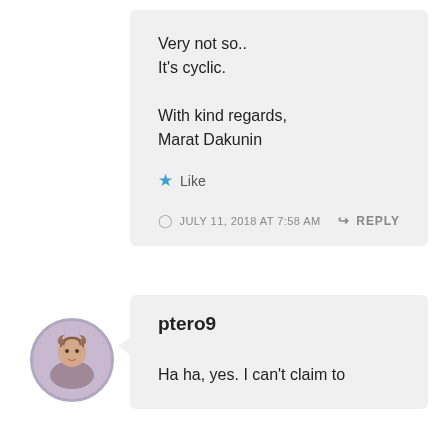Very not so..
It's cyclic.

With kind regards,
Marat Dakunin
Like
JULY 11, 2018 AT 7:58 AM
REPLY
[Figure (photo): Circular avatar photo of a woman with curly hair]
ptero9
Ha ha, yes. I can't claim to